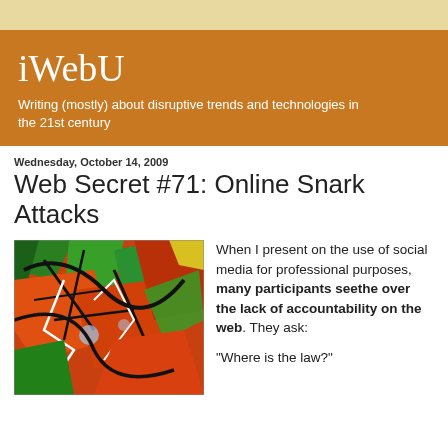iWebU
Writing (mostly) about disruptive trends and technologies in the 21st century
Wednesday, October 14, 2009
Web Secret #71: Online Snark Attacks
[Figure (photo): Colorful graffiti art with orange, green, red and black spray paint on a wall]
When I present on the use of social media for professional purposes, many participants seethe over the lack of accountability on the web. They ask:

"Where is the law?"